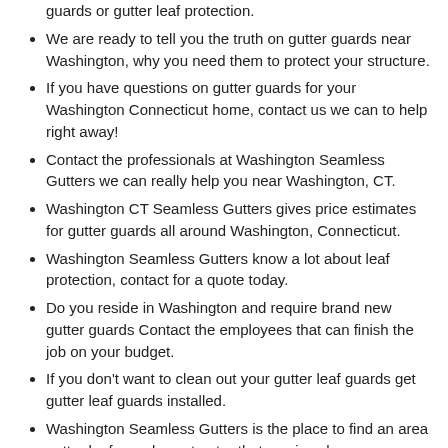guards or gutter leaf protection.
We are ready to tell you the truth on gutter guards near Washington, why you need them to protect your structure.
If you have questions on gutter guards for your Washington Connecticut home, contact us we can to help right away!
Contact the professionals at Washington Seamless Gutters we can really help you near Washington, CT.
Washington CT Seamless Gutters gives price estimates for gutter guards all around Washington, Connecticut.
Washington Seamless Gutters know a lot about leaf protection, contact for a quote today.
Do you reside in Washington and require brand new gutter guards Contact the employees that can finish the job on your budget.
If you don't want to clean out your gutter leaf guards get gutter leaf guards installed.
Washington Seamless Gutters is the place to find an area gutter leaf guards contractor that services homeowners near Washington.
Searching for a quote on gutter leaf guards, call the top contractor near Washington, Connecticut today for a meeting.
Do you need new gutters in the following zip codes: 06793, and